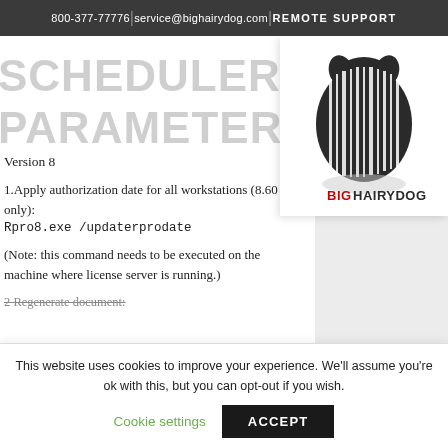800-377-77776 | service@bighairydog.com | REMOTE SUPPORT
SCHEDULER PARAMETERS
[Figure (logo): Big Hairy Dog logo — barcode-striped dog silhouette above text BIGHAIRYDOG RETAIL RELATIONSHIPS]
Version 8
1.Apply authorization date for all workstations (8.60 only):
Rpro8.exe /updaterprodate
(Note: this command needs to be executed on the machine where license server is running.)
2 Regenerate document:
This website uses cookies to improve your experience. We'll assume you're ok with this, but you can opt-out if you wish.